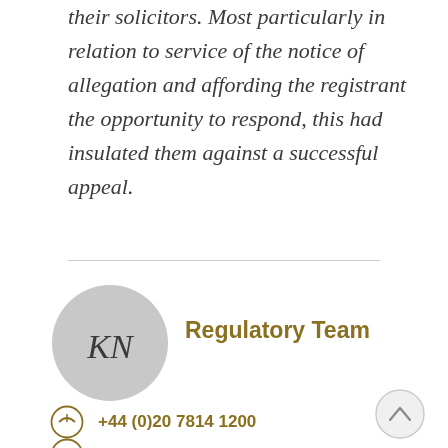their solicitors. Most particularly in relation to service of the notice of allegation and affording the registrant the opportunity to respond, this had insulated them against a successful appeal.
[Figure (illustration): Circular avatar with grey background and initials KN in italic serif font]
Regulatory Team
+44 (0)20 7814 1200
enquiries@kingsleynapley.co.uk